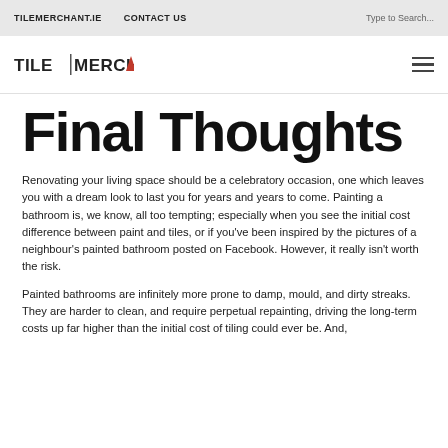TILEMERCHANT.IE   CONTACT US   Type to Search...
[Figure (logo): TILE|MERCHANT logo with a red triangle as the A in MERCHANT]
Final Thoughts
Renovating your living space should be a celebratory occasion, one which leaves you with a dream look to last you for years and years to come. Painting a bathroom is, we know, all too tempting; especially when you see the initial cost difference between paint and tiles, or if you've been inspired by the pictures of a neighbour's painted bathroom posted on Facebook. However, it really isn't worth the risk.
Painted bathrooms are infinitely more prone to damp, mould, and dirty streaks. They are harder to clean, and require perpetual repainting, driving the long-term costs up far higher than the initial cost of tiling could ever be. And,